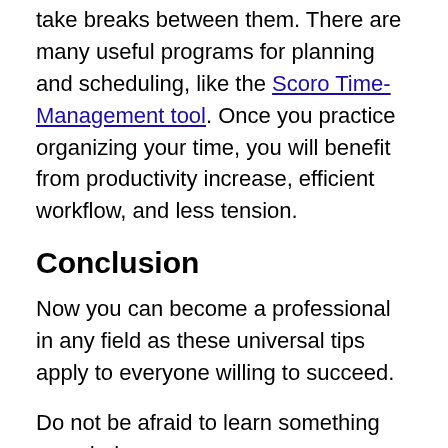take breaks between them. There are many useful programs for planning and scheduling, like the Scoro Time-Management tool. Once you practice organizing your time, you will benefit from productivity increase, efficient workflow, and less tension.
Conclusion
Now you can become a professional in any field as these universal tips apply to everyone willing to succeed.
Do not be afraid to learn something new during